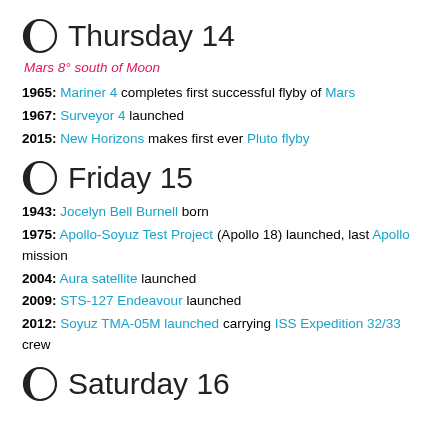Thursday 14
Mars 8° south of Moon
1965: Mariner 4 completes first successful flyby of Mars
1967: Surveyor 4 launched
2015: New Horizons makes first ever Pluto flyby
Friday 15
1943: Jocelyn Bell Burnell born
1975: Apollo-Soyuz Test Project (Apollo 18) launched, last Apollo mission
2004: Aura satellite launched
2009: STS-127 Endeavour launched
2012: Soyuz TMA-05M launched carrying ISS Expedition 32/33 crew
Saturday 16